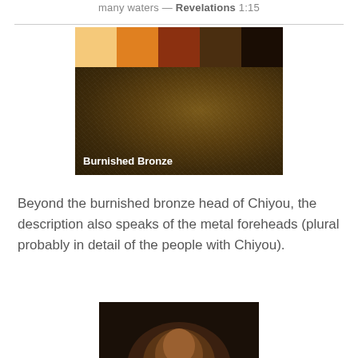many waters — Revelations 1:15
[Figure (illustration): Color palette swatches showing five colors from light peach/tan to deep dark brown, above a large burnished bronze metallic texture photo with label 'Burnished Bronze']
Beyond the burnished bronze head of Chiyou, the description also speaks of the metal foreheads (plural probably in detail of the people with Chiyou).
[Figure (photo): Bottom portion of a photograph showing a person, partially cropped]